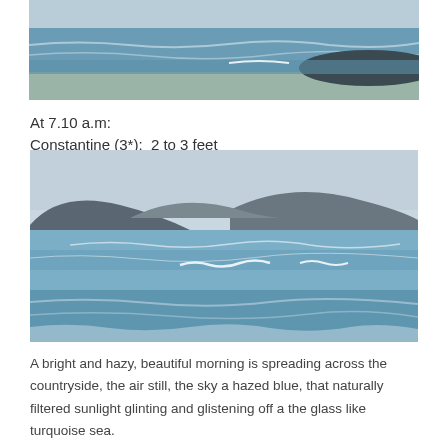[Figure (photo): Coastal beach scene with ocean waves and a dark headland in the distance, partially cropped at top of page.]
At 7.10 a.m:
Constantine (3*):  2 to 3 feet
[Figure (photo): Coastal seascape showing gentle ocean waves breaking in the foreground and a large rocky headland/hill in the background under a hazy blue sky.]
A bright and hazy, beautiful morning is spreading across the countryside, the air still, the sky a hazed blue, that naturally filtered sunlight glinting and glistening off a the glass like turquoise sea.